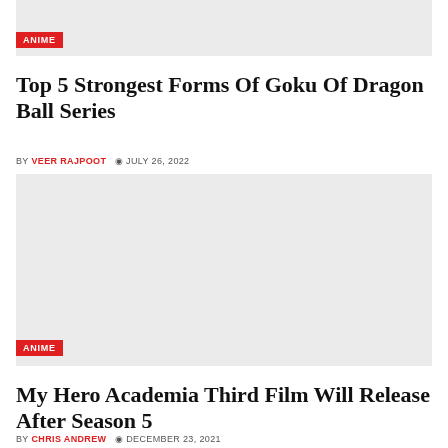[Figure (other): Gray placeholder image with ANIME tag label in bottom left]
Top 5 Strongest Forms Of Goku Of Dragon Ball Series
BY VEER RAJPOOT  © JULY 26, 2022
[Figure (other): Gray placeholder image with ANIME tag label in bottom left]
My Hero Academia Third Film Will Release After Season 5
BY CHRIS ANDREW  © DECEMBER 23, 2021